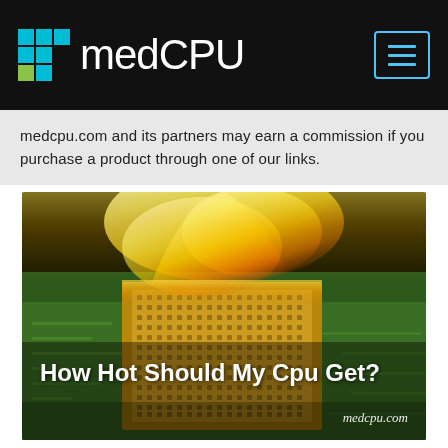medCPU
medcpu.com and its partners may earn a commission if you purchase a product through one of our links.
[Figure (photo): A CPU chip on fire/overheating on a green circuit board, used as hero image for article about CPU temperatures]
How Hot Should My Cpu Get?